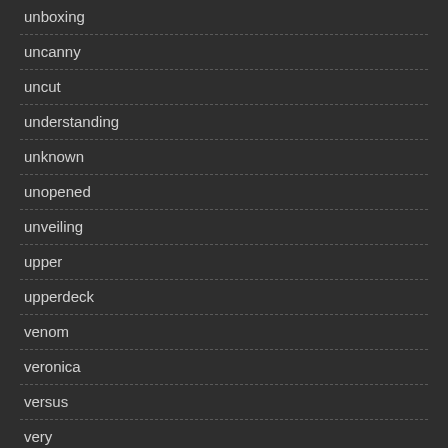unboxing
uncanny
uncut
understanding
unknown
unopened
unveiling
upper
upperdeck
venom
veronica
versus
very